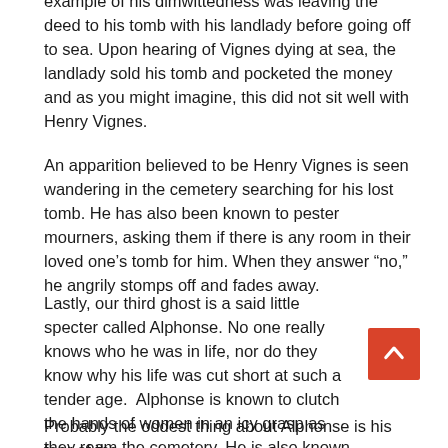example of his dimwittedness was leaving the deed to his tomb with his landlady before going off to sea. Upon hearing of Vignes dying at sea, the landlady sold his tomb and pocketed the money and as you might imagine, this did not sit well with Henry Vignes.
An apparition believed to be Henry Vignes is seen wandering in the cemetery searching for his lost tomb. He has also been known to pester mourners, asking them if there is any room in their loved one’s tomb for him. When they answer “no,” he angrily stomps off and fades away.
Lastly, our third ghost is a said little specter called Alphonse. No one really knows who he was in life, nor do they know why his life was cut short at such a tender age. Alphonse is known to clutch the hands of women in an icy grasp as they roam the cemetery. He is also known to steal flowers and trinkets from other graves adorn his own.
Probably the oddest thing about Alphonse is his fear of the